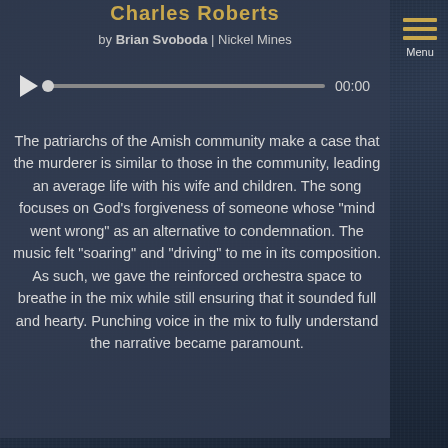Charles Roberts
by Brian Svoboda | Nickel Mines
[Figure (other): Audio player with play button, progress bar, and 00:00 timestamp]
The patriarchs of the Amish community make a case that the murderer is similar to those in the community, leading an average life with his wife and children. The song focuses on God’s forgiveness of someone whose “mind went wrong” as an alternative to condemnation. The music felt “soaring” and “driving” to me in its composition. As such, we gave the reinforced orchestra space to breathe in the mix while still ensuring that it sounded full and hearty. Punching voice in the mix to fully understand the narrative became paramount.